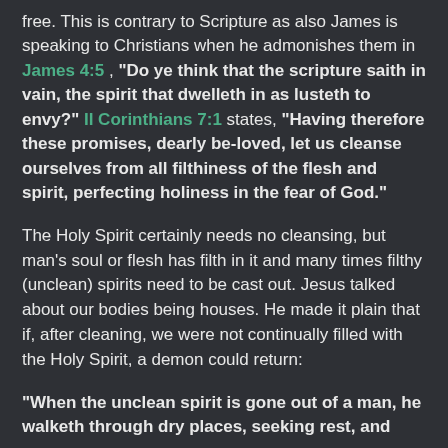free. This is contrary to Scripture as also James is speaking to Christians when he admonishes them in James 4:5 , "Do ye think that the scripture saith in vain, the spirit that dwelleth in as lusteth to envy?" II Corinthians 7:1 states, "Having therefore these promises, dearly be-loved, let us cleanse ourselves from all filthiness of the flesh and spirit, perfecting holiness in the fear of God."
The Holy Spirit certainly needs no cleansing, but man's soul or flesh has filth in it and many times filthy (unclean) spirits need to be cast out. Jesus talked about our bodies being houses. He made it plain that if, after cleaning, we were not continually filled with the Holy Spirit, a demon could return:
"When the unclean spirit is gone out of a man, he walketh through dry places, seeking rest, and